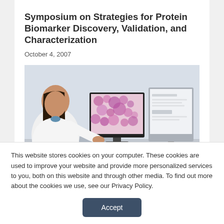Symposium on Strategies for Protein Biomarker Discovery, Validation, and Characterization
October 4, 2007
[Figure (photo): A female scientist in a white lab coat sitting at a desk looking at two computer monitors, one displaying a pink/purple microscopy image of tissue.]
This website stores cookies on your computer. These cookies are used to improve your website and provide more personalized services to you, both on this website and through other media. To find out more about the cookies we use, see our Privacy Policy.
Accept